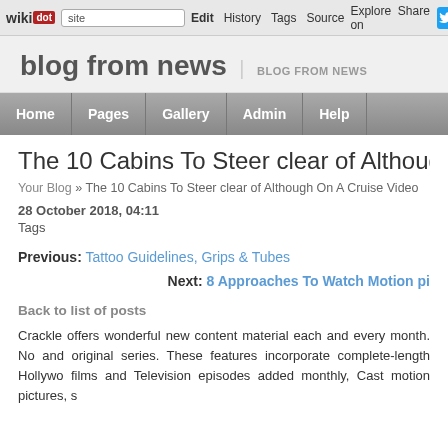wikidot | site | Edit | History | Tags | Source | Explore | Share on [Twitter]
blog from news | BLOG FROM NEWS
Home | Pages | Gallery | Admin | Help
The 10 Cabins To Steer clear of Although
Your Blog » The 10 Cabins To Steer clear of Although On A Cruise Video
28 October 2018, 04:11
Tags
Previous: Tattoo Guidelines, Grips & Tubes
Next: 8 Approaches To Watch Motion pi
Back to list of posts
Crackle offers wonderful new content material each and every month. No and original series. These features incorporate complete-length Hollywo films and Television episodes added monthly, Cast motion pictures, s